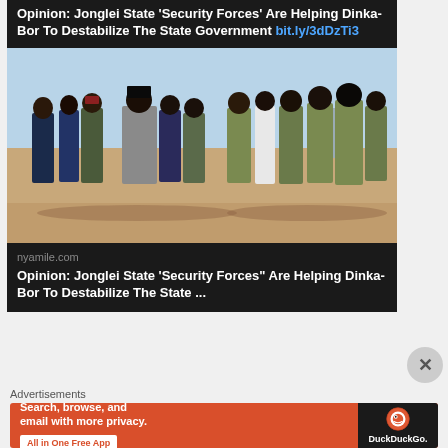Opinion: Jonglei State 'Security Forces' Are Helping Dinka-Bor To Destabilize The State Government bit.ly/3dDzTi3
[Figure (photo): Group of men in military and civilian clothing standing in a dusty outdoor setting, several wearing face masks]
nyamile.com
Opinion: Jonglei State 'Security Forces" Are Helping Dinka-Bor To Destabilize The State ...
Advertisements
[Figure (screenshot): DuckDuckGo advertisement banner with orange background, text: Search, browse, and email with more privacy. All in One Free App. DuckDuckGo logo on right side.]